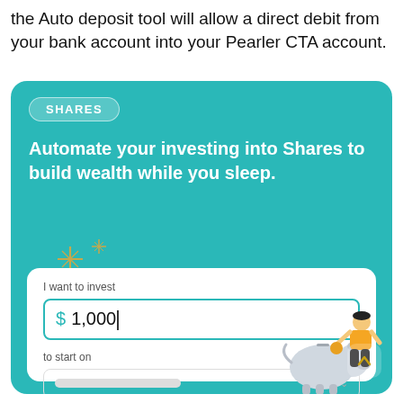the Auto deposit tool will allow a direct debit from your bank account into your Pearler CTA account.
[Figure (screenshot): Pearler app UI card with teal background showing 'SHARES' badge, headline 'Automate your investing into Shares to build wealth while you sleep.', and an investment form with fields for amount ($1,000), start date, and repeat frequency, with a piggy bank illustration.]